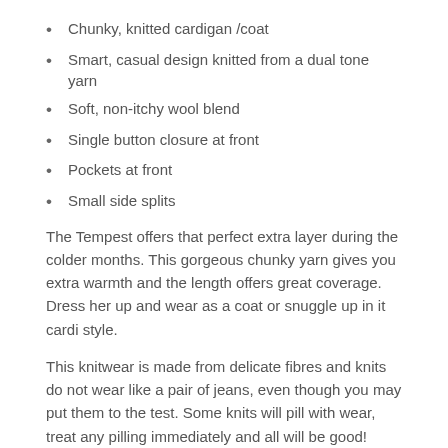Chunky, knitted cardigan /coat
Smart, casual design knitted from a dual tone yarn
Soft, non-itchy wool blend
Single button closure at front
Pockets at front
Small side splits
The Tempest offers that perfect extra layer during the colder months. This gorgeous chunky yarn gives you extra warmth and the length offers great coverage.  Dress her up and wear as a coat or snuggle up in it cardi style.
This knitwear is made from delicate fibres and knits do not wear like a pair of jeans, even though you may put them to the test. Some knits will pill with wear, treat any pilling immediately and all will be good!
We hand measure all our garments to help you choose the best fit.